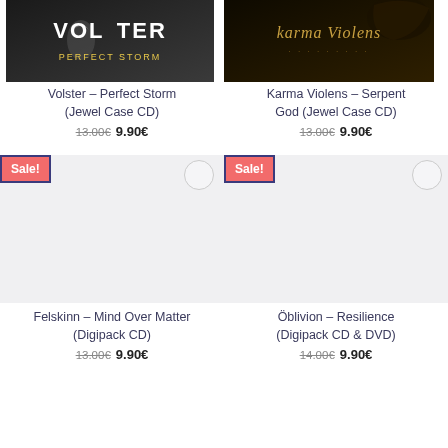[Figure (photo): Volster – Perfect Storm album art: dark background with VOLSTER and PERFECT STORM text]
[Figure (photo): Karma Violens – Serpent God album art: dark golden background with gothic text Karma Violens]
Volster – Perfect Storm (Jewel Case CD)
13.00€  9.90€
Karma Violens – Serpent God (Jewel Case CD)
13.00€  9.90€
Sale!
[Figure (photo): Felskinn – Mind Over Matter album placeholder image, light grey background]
Sale!
[Figure (photo): Öblivion – Resilience Digipack CD & DVD placeholder image, light grey background]
Felskinn – Mind Over Matter (Digipack CD)
13.00€  9.90€
Öblivion – Resilience (Digipack CD & DVD)
14.00€  9.90€